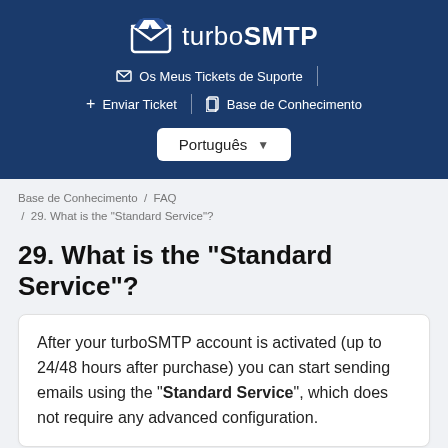[Figure (logo): turboSMTP logo with envelope icon on dark blue header background]
Os Meus Tickets de Suporte  |  + Enviar Ticket  |  Base de Conhecimento  Português ▼
Base de Conhecimento / FAQ / 29. What is the "Standard Service"?
29. What is the "Standard Service"?
After your turboSMTP account is activated (up to 24/48 hours after purchase) you can start sending emails using the "Standard Service", which does not require any advanced configuration.